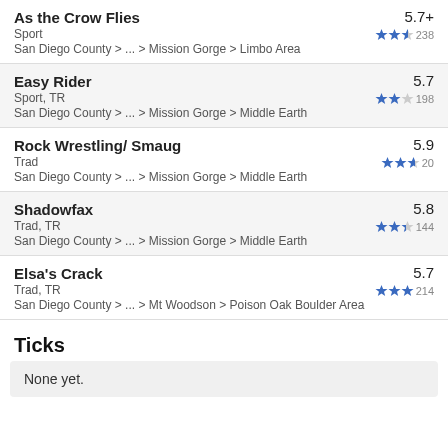As the Crow Flies | 5.7+ | Sport | San Diego County > ... > Mission Gorge > Limbo Area | ★★☆ 238
Easy Rider | 5.7 | Sport, TR | San Diego County > ... > Mission Gorge > Middle Earth | ★★ 198
Rock Wrestling/ Smaug | 5.9 | Trad | San Diego County > ... > Mission Gorge > Middle Earth | ★★★ 20
Shadowfax | 5.8 | Trad, TR | San Diego County > ... > Mission Gorge > Middle Earth | ★★★ 144
Elsa's Crack | 5.7 | Trad, TR | San Diego County > ... > Mt Woodson > Poison Oak Boulder Area | ★★★ 214
Ticks
None yet.